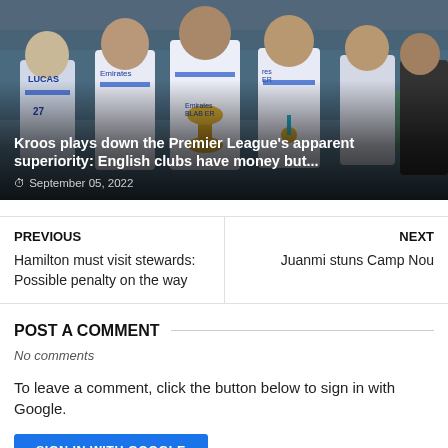[Figure (photo): Real Madrid players celebrating with the Champions League trophy, wearing white jerseys with Emirates sponsor, holding medals, waving at camera in a stadium setting]
Kroos plays down the Premier League's apparent superiority: English clubs have money but...
September 05, 2022
PREVIOUS
Hamilton must visit stewards: Possible penalty on the way
NEXT
Juanmi stuns Camp Nou
POST A COMMENT
No comments
To leave a comment, click the button below to sign in with Google.
SIGN IN WITH GOOGLE